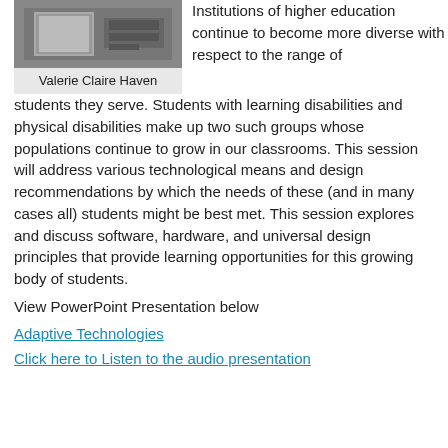[Figure (photo): Photo of Valerie Claire Haven]
Valerie Claire Haven
Institutions of higher education continue to become more diverse with respect to the range of students they serve. Students with learning disabilities and physical disabilities make up two such groups whose populations continue to grow in our classrooms. This session will address various technological means and design recommendations by which the needs of these (and in many cases all) students might be best met. This session explores and discuss software, hardware, and universal design principles that provide learning opportunities for this growing body of students.
View PowerPoint Presentation below
Adaptive Technologies
Click here to Listen to the audio presentation